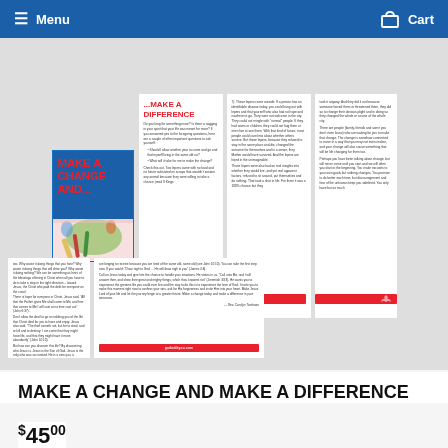Menu   Cart
[Figure (photo): Book preview showing front cover and interior spreads of 'Make a Change And... Make a Difference']
MAKE A CHANGE AND MAKE A DIFFERENCE
$45.00